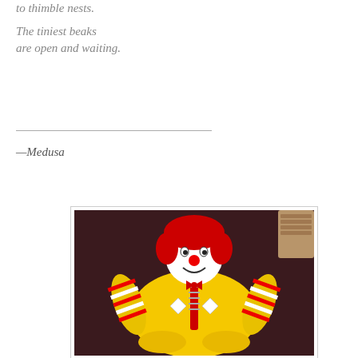to thimble nests.

The tiniest beaks
are open and waiting.
—Medusa
[Figure (photo): A stuffed Ronald McDonald clown doll lying on a dark surface, wearing yellow outfit and red-and-white striped sleeves, with red hair and a smiling face.]